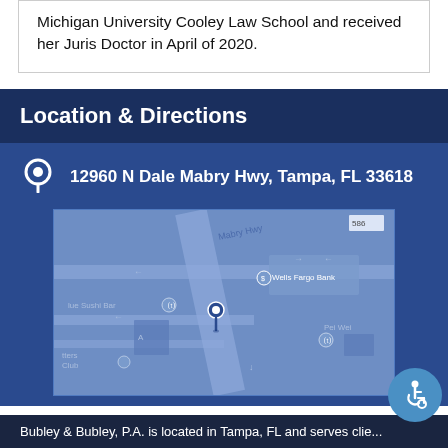Michigan University Cooley Law School and received her Juris Doctor in April of 2020.
Location & Directions
12960 N Dale Mabry Hwy, Tampa, FL 33618
[Figure (map): Google Maps screenshot showing 12960 N Dale Mabry Hwy, Tampa, FL with a location pin. Nearby landmarks include Wells Fargo Bank, Blue Sushi Bar, Pei Wei, and other businesses.]
Bubley & Bubley, P.A. is located in Tampa, FL and serves clie...